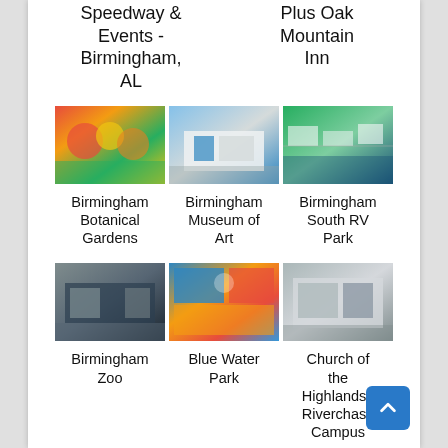Speedway & Events - Birmingham, AL
Plus Oak Mountain Inn
[Figure (photo): Photo of Birmingham Botanical Gardens with colorful flowers]
Birmingham Botanical Gardens
[Figure (photo): Photo of Birmingham Museum of Art building exterior]
Birmingham Museum of Art
[Figure (photo): Aerial photo of Birmingham South RV Park]
Birmingham South RV Park
[Figure (photo): Photo of Birmingham Zoo entrance]
Birmingham Zoo
[Figure (photo): Photo of Blue Water Park]
Blue Water Park
[Figure (photo): Photo of Church of the Highlands Riverchase Campus building]
Church of the Highlands | Riverchase Campus